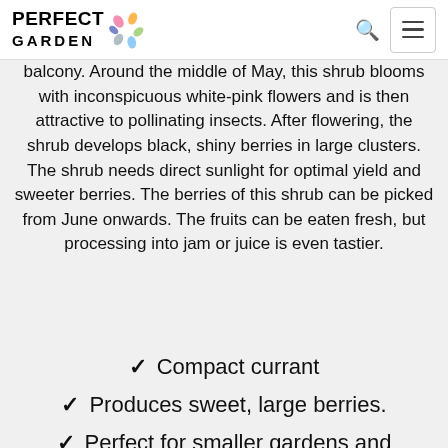PERFECT GARDEN
balcony. Around the middle of May, this shrub blooms with inconspicuous white-pink flowers and is then attractive to pollinating insects. After flowering, the shrub develops black, shiny berries in large clusters. The shrub needs direct sunlight for optimal yield and sweeter berries. The berries of this shrub can be picked from June onwards. The fruits can be eaten fresh, but processing into jam or juice is even tastier.
Compact currant
Produces sweet, large berries.
Perfect for smaller gardens and